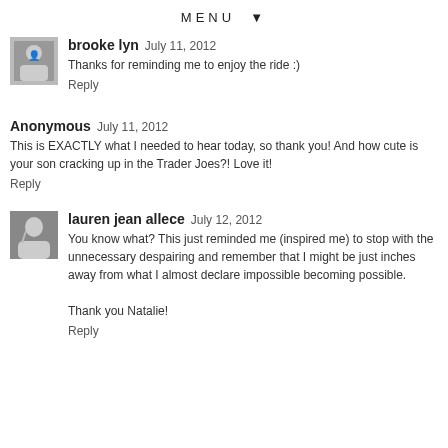MENU ▼
brooke lyn  July 11, 2012
Thanks for reminding me to enjoy the ride :)
Reply
Anonymous  July 11, 2012
This is EXACTLY what I needed to hear today, so thank you! And how cute is your son cracking up in the Trader Joes?! Love it!
Reply
lauren jean allece  July 12, 2012
You know what? This just reminded me (inspired me) to stop with the unnecessary despairing and remember that I might be just inches away from what I almost declare impossible becoming possible.
Thank you Natalie!
Reply